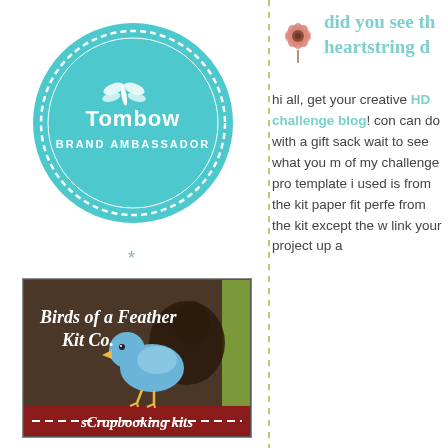[Figure (logo): Tombow Brand Ambassador circular badge in teal/turquoise color with dragonfly logo and dashed border circle]
*
[Figure (logo): Birds of a Feather Kit Co. scrapbooking kits badge with brown background, blue bird illustration, and red strip reading 'sCrapbooking kits']
[Figure (illustration): Pink flower illustration in upper right area]
did you see th heartstring d hi all, get your creative HD challenge blog! con can do with a gift sack wait to see what you m of my challenge pro template i used is from the kit paper fit perfe from the kit except the w link your project up a